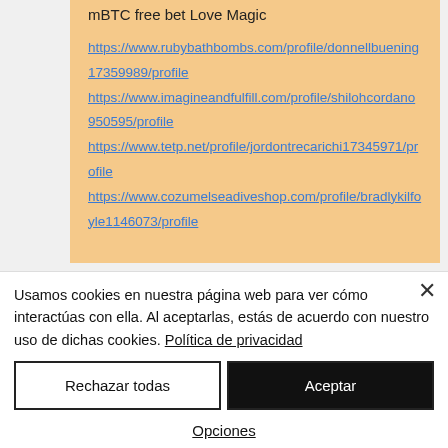mBTC free bet Love Magic
https://www.rubybathbombs.com/profile/donnellbuening17359989/profile https://www.imagineandfulfill.com/profile/shilohcordano950595/profile https://www.tetp.net/profile/jordontrecarichi17345971/profile https://www.cozumelseadiveshop.com/profile/bradlykilfoyle1146073/profile
REDES SOCIALES
Usamos cookies en nuestra página web para ver cómo interactúas con ella. Al aceptarlas, estás de acuerdo con nuestro uso de dichas cookies. Política de privacidad
Rechazar todas
Aceptar
Opciones